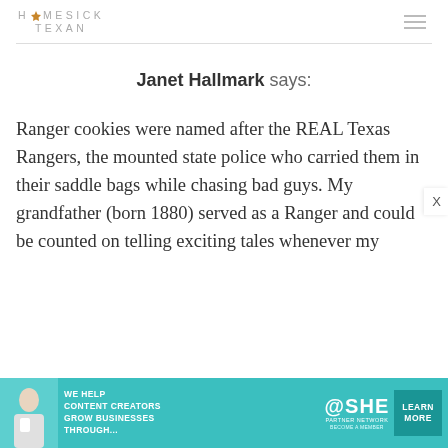HOMESICK TEXAN
Janet Hallmark says:
Ranger cookies were named after the REAL Texas Rangers, the mounted state police who carried them in their saddle bags while chasing bad guys. My grandfather (born 1880) served as a Ranger and could be counted on telling exciting tales whenever my
[Figure (infographic): Advertisement banner for SHE Media Partner Network: 'We help content creators grow businesses through...' with a Learn More button]